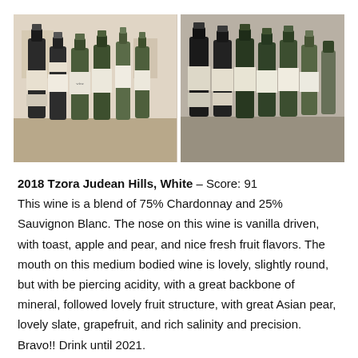[Figure (photo): Two side-by-side photographs of wine bottles standing on a wooden table. The left photo shows approximately five bottles with white labels (including Tzora wines). The right photo shows approximately six dark green bottles with white labels, viewed from a slightly different angle.]
2018 Tzora Judean Hills, White – Score: 91
This wine is a blend of 75% Chardonnay and 25% Sauvignon Blanc. The nose on this wine is vanilla driven, with toast, apple and pear, and nice fresh fruit flavors. The mouth on this medium bodied wine is lovely, slightly round, but with be piercing acidity, with a great backbone of mineral, followed lovely fruit structure, with great Asian pear, lovely slate, grapefruit, and rich salinity and precision. Bravo!! Drink until 2021.